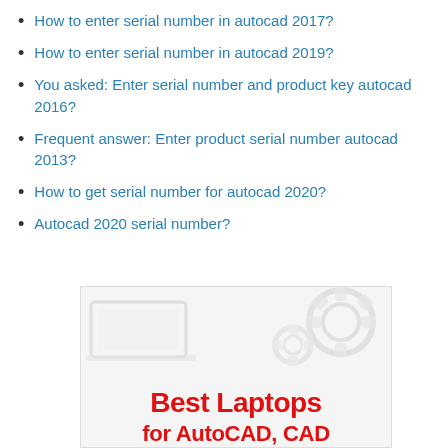How to enter serial number in autocad 2017?
How to enter serial number in autocad 2019?
You asked: Enter serial number and product key autocad 2016?
Frequent answer: Enter product serial number autocad 2013?
How to get serial number for autocad 2020?
Autocad 2020 serial number?
[Figure (illustration): Promotional image showing Best Laptops for AutoCAD, CAD text in red with gear/cog imagery and a laptop illustration in the background]